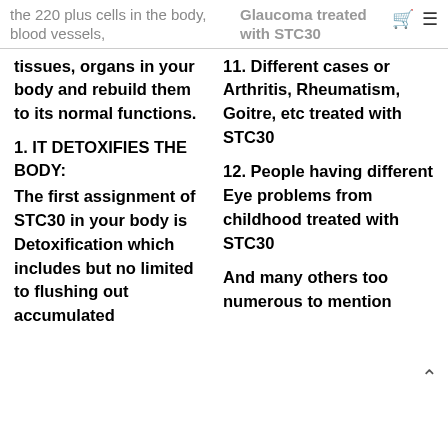the 220 plus cells in the body, blood vessels,
Glaucoma treated with STC30
tissues, organs in your body and rebuild them to its normal functions.
11. Different cases or Arthritis, Rheumatism, Goitre, etc treated with STC30
1. IT DETOXIFIES THE BODY:
12. People having different Eye problems from childhood treated with STC30
The first assignment of STC30 in your body is Detoxification which includes but no limited to flushing out accumulated
And many others too numerous to mention